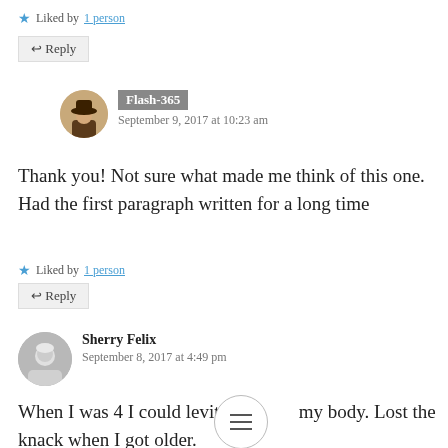★ Liked by 1 person
↩ Reply
Flash-365
September 9, 2017 at 10:23 am
Thank you! Not sure what made me think of this one. Had the first paragraph written for a long time
★ Liked by 1 person
↩ Reply
Sherry Felix
September 8, 2017 at 4:49 pm
When I was 4 I could levitate my body. Lost the knack when I got older.